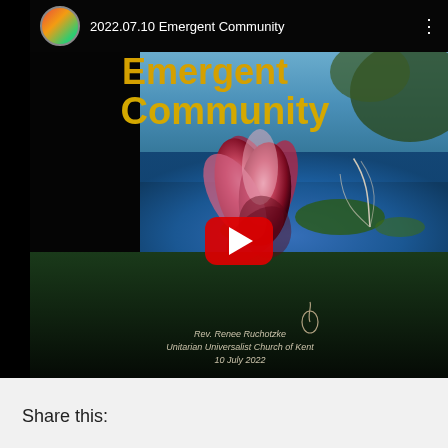[Figure (screenshot): YouTube video thumbnail showing '2022.07.10 Emergent Community' with a water lily / lotus flower on a still pond with text 'Emergent Community' in yellow/gold, credited to Rev. Renee Ruchotzke, Unitarian Universalist Church of Kent, 10 July 2022, with a red YouTube play button overlay.]
Share this: